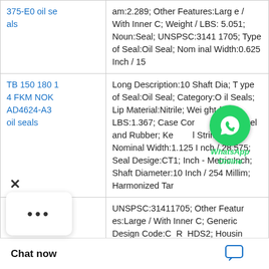| Product | Description |
| --- | --- |
| 375-E0 oil seals | am:2.289; Other Features:Large / With Inner C; Weight / LBS:5.051; Noun:Seal; UNSPSC:31411705; Type of Seal:Oil Seal; Nominal Width:0.625 Inch / 15 |
| TB 150 180 14 FKM NOK AD4624-A3 oil seals | Long Description:10 Shaft Dia; Type of Seal:Oil Seal; Category:Oil Seals; Lip Material:Nitrile; Weight / LBS:1.367; Case Construction:Steel and Rubber; Keyword String:Lip; Nominal Width:1.125 Inch / 28.575; Seal Design Code:CT1; Inch - Metric:Inch; Shaft Diameter:10 Inch / 254 Millim; Harmonized Tar |
|  | UNSPSC:31411705; Other Features:Large / With Inner C; Generic Design Code:C_R_HDS2; Housing Inch / 380 Mi; Seal Design Code:HDS2; Case Con |
[Figure (other): WhatsApp Online chat widget overlay with green WhatsApp icon and italic bold label 'WhatsApp Online']
[Figure (screenshot): Chat now bar at bottom with 'Chat now' text and chat icon, plus dots popup and X close button]